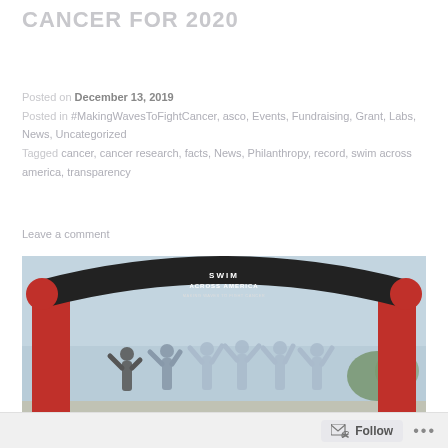CANCER FOR 2020
Posted on December 13, 2019
Posted in #MakingWavesToFightCancer, asco, Events, Fundraising, Grant, Labs, News, Uncategorized
Tagged cancer, cancer research, facts, News, Philanthropy, record, swim across america, transparency
Leave a comment
[Figure (photo): Group of people with arms raised under a red inflatable Swim Across America arch banner outdoors]
Follow ...